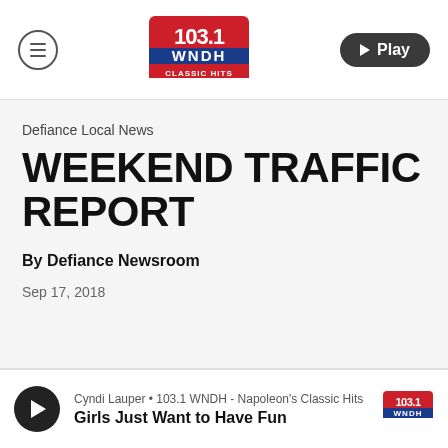103.1 WNDH Classic Hits — navigation header with menu icon and Play button
Defiance Local News
WEEKEND TRAFFIC REPORT
By Defiance Newsroom
Sep 17, 2018
Cyndi Lauper • 103.1 WNDH - Napoleon's Classic Hits — Girls Just Want to Have Fun